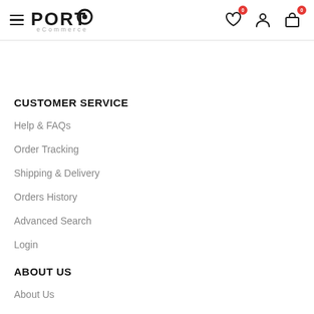PORTO eCommerce — navigation header with hamburger menu, logo, wishlist (0), account, and cart (0) icons
CUSTOMER SERVICE
Help & FAQs
Order Tracking
Shipping & Delivery
Orders History
Advanced Search
Login
ABOUT US
About Us